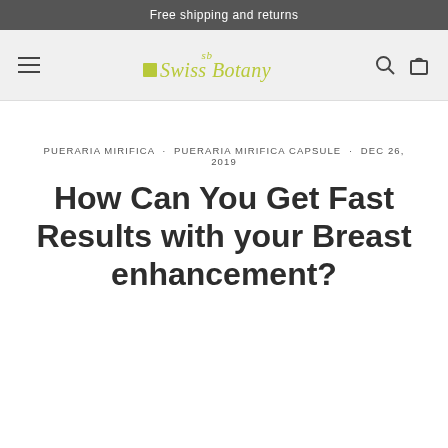Free shipping and returns
[Figure (logo): Swiss Botany brand logo with green stylized 'SB' monogram above, green square icon and italic green text 'Swiss Botany' below, on light grey navigation bar with hamburger menu on left and search/cart icons on right]
PUERARIA MIRIFICA · PUERARIA MIRIFICA CAPSULE · DEC 26, 2019
How Can You Get Fast Results with your Breast enhancement?